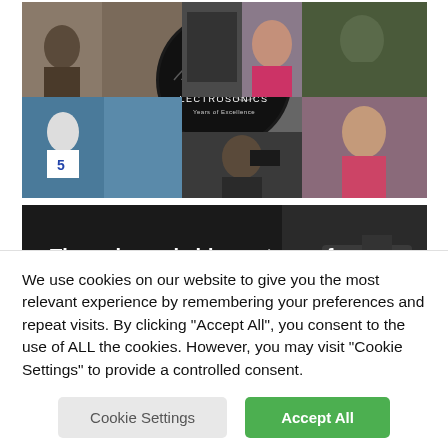[Figure (photo): Lectrosonics 50th anniversary collage showing multiple scenes: audio professional, baseball player number 5, woman with microphone, man operating camera, soldier with equipment, and Lectrosonics 50 Years of Excellence logo in center]
[Figure (photo): Dark promotional banner with text 'The universal video gateway for all your live streaming needs.' with partial EPVR logo text visible at bottom, camera visible on right side]
We use cookies on our website to give you the most relevant experience by remembering your preferences and repeat visits. By clicking "Accept All", you consent to the use of ALL the cookies. However, you may visit "Cookie Settings" to provide a controlled consent.